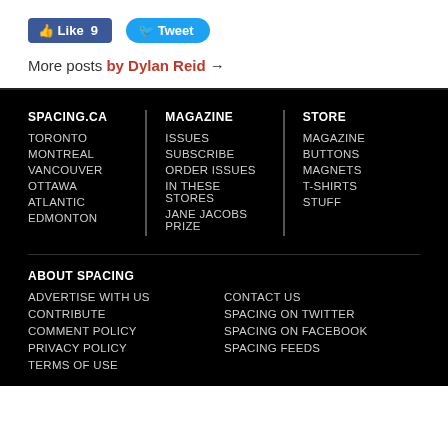[Figure (screenshot): Facebook Like button showing count 9 and Twitter Tweet button]
More posts by Dylan Reid →
SPACING.CA
TORONTO
MONTREAL
VANCOUVER
OTTAWA
ATLANTIC
EDMONTON
MAGAZINE
ISSUES
SUBSCRIBE
ORDER ISSUES
IN THESE STORES
JANE JACOBS PRIZE
STORE
MAGAZINE
BUTTONS
MAGNETS
T-SHIRTS
STUFF
ABOUT SPACING
ADVERTISE WITH US
CONTRIBUTE
COMMENT POLICY
PRIVACY POLICY
TERMS OF USE
CONTACT US
SPACING ON TWITTER
SPACING ON FACEBOOK
SPACING FEEDS